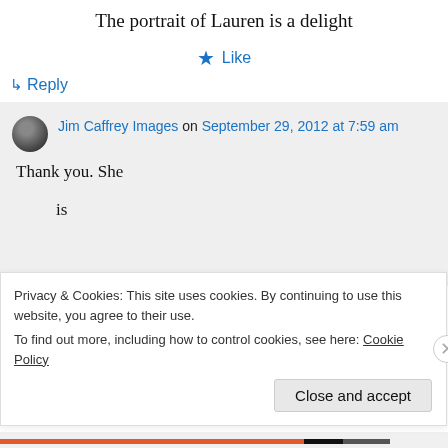The portrait of Lauren is a delight
★ Like
↳ Reply
Jim Caffrey Images on September 29, 2012 at 7:59 am
Thank you. She

is
Privacy & Cookies: This site uses cookies. By continuing to use this website, you agree to their use.
To find out more, including how to control cookies, see here: Cookie Policy
Close and accept